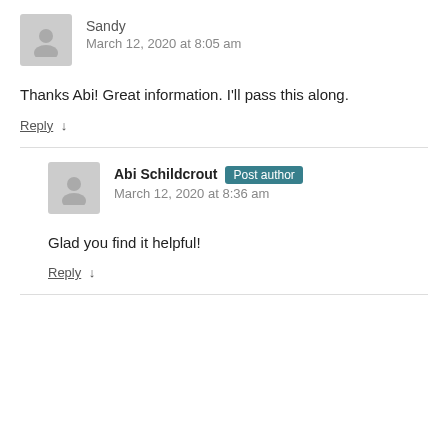Sandy
March 12, 2020 at 8:05 am
Thanks Abi! Great information. I'll pass this along.
Reply ↓
Abi Schildcrout Post author
March 12, 2020 at 8:36 am
Glad you find it helpful!
Reply ↓